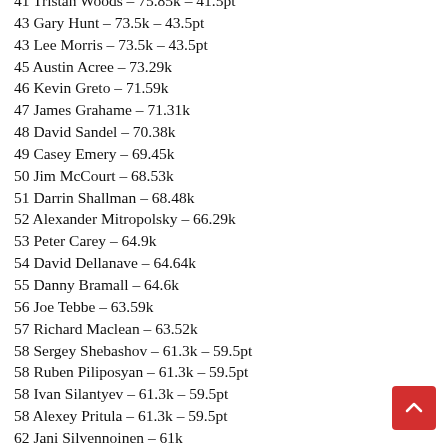41 Tristan Woods – 75.85k – 41.5pt
43 Gary Hunt – 73.5k – 43.5pt
43 Lee Morris – 73.5k – 43.5pt
45 Austin Acree – 73.29k
46 Kevin Greto – 71.59k
47 James Grahame – 71.31k
48 David Sandel – 70.38k
49 Casey Emery – 69.45k
50 Jim McCourt – 68.53k
51 Darrin Shallman – 68.48k
52 Alexander Mitropolsky – 66.29k
53 Peter Carey – 64.9k
54 David Dellanave – 64.64k
55 Danny Bramall – 64.6k
56 Joe Tebbe – 63.59k
57 Richard Maclean – 63.52k
58 Sergey Shebashov – 61.3k – 59.5pt
58 Ruben Piliposyan – 61.3k – 59.5pt
58 Ivan Silantyev – 61.3k – 59.5pt
58 Alexey Pritula – 61.3k – 59.5pt
62 Jani Silvennoinen – 61k
63 Chris Smith – 60.54k
64 Nick Oswald – 58.82k
65 Brett Lindskog – 58.79k
66 Tomas Valverde – 57.5k